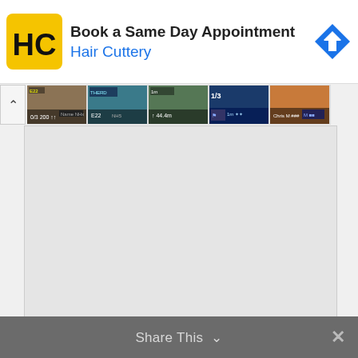[Figure (screenshot): Hair Cuttery advertisement banner with yellow HC logo, text 'Book a Same Day Appointment' and 'Hair Cuttery' in blue, and a blue navigation arrow icon on the right]
[Figure (screenshot): A row of small video/image thumbnails showing game screenshots with HUD elements, health bars, distance indicators, and player stats]
[Figure (screenshot): Large gray/blank main content area representing an embedded media player or content panel]
Share This
✕